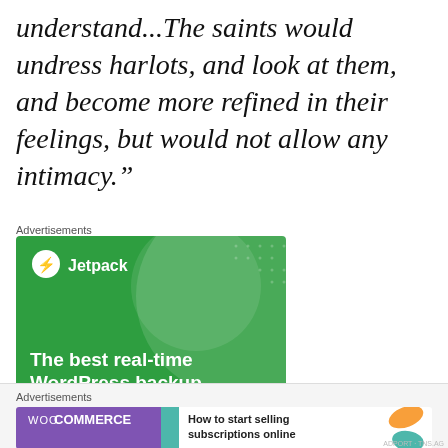understand...The saints would undress harlots, and look at them, and become more refined in their feelings, but would not allow any intimacy.”
Advertisements
[Figure (infographic): Jetpack WordPress plugin advertisement on a green background with large circle graphic and text: The best real-time WordPress backup plugin]
[Figure (infographic): WooCommerce advertisement: How to start selling subscriptions online]
Advertisements